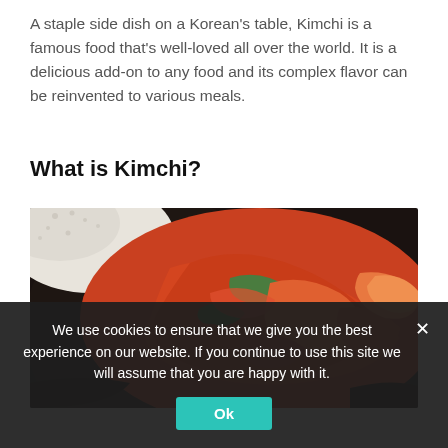A staple side dish on a Korean's table, Kimchi is a famous food that's well-loved all over the world. It is a delicious add-on to any food and its complex flavor can be reinvented to various meals.
What is Kimchi?
[Figure (photo): Close-up photo of kimchi (red fermented cabbage with vegetables) in a dark bowl, with white rice visible in the upper left corner.]
We use cookies to ensure that we give you the best experience on our website. If you continue to use this site we will assume that you are happy with it.